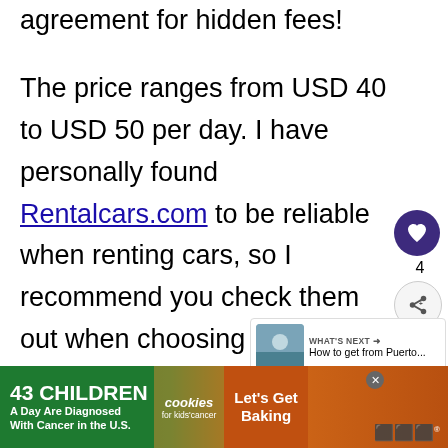agreement for hidden fees!
The price ranges from USD 40 to USD 50 per day. I have personally found Rentalcars.com to be reliable when renting cars, so I recommend you check them out when choosing your rental car.
Hit the road with your friends and discover the stunning Cayucan coastline to
[Figure (screenshot): Social media UI overlay: heart (like) button with count 4, and share button]
[Figure (screenshot): What's Next panel showing thumbnail image and text 'How to get from Puerto...']
[Figure (screenshot): Advertisement banner: 43 CHILDREN A Day Are Diagnosed With Cancer in the U.S. - cookies for kids' cancer - Let's Get Baking]